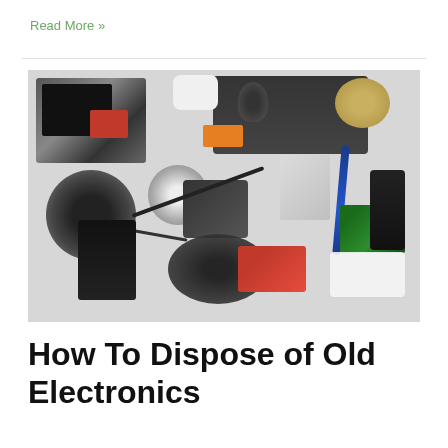Read More »
[Figure (photo): A pile of old electronics including laptops, keyboards, headphones, cameras, calculators, circuit boards, clocks, cables, and other electronic devices arranged on a white surface.]
How To Dispose of Old Electronics